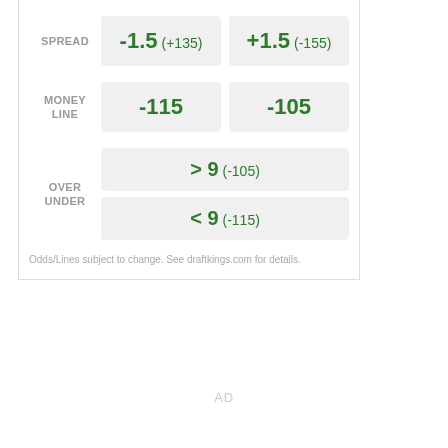|  | Team 1 | Team 2 |
| --- | --- | --- |
| SPREAD | -1.5 (+135) | +1.5 (-155) |
| MONEY LINE | -115 | -105 |
| OVER UNDER | > 9 (-105) / < 9 (-115) |  |
Odds/Lines subject to change. See draftkings.com for details.
AD